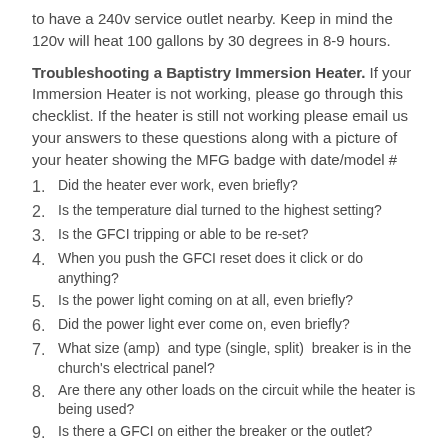to have a 240v service outlet nearby. Keep in mind the 120v will heat 100 gallons by 30 degrees in 8-9 hours.
Troubleshooting a Baptistry Immersion Heater. If your Immersion Heater is not working, please go through this checklist. If the heater is still not working please email us your answers to these questions along with a picture of your heater showing the MFG badge with date/model #
Did the heater ever work, even briefly?
Is the temperature dial turned to the highest setting?
Is the GFCI tripping or able to be re-set?
When you push the GFCI reset does it click or do anything?
Is the power light coming on at all, even briefly?
Did the power light ever come on, even briefly?
What size (amp)  and type (single, split)  breaker is in the church's electrical panel?
Are there any other loads on the circuit while the heater is being used?
Is there a GFCI on either the breaker or the outlet?
If yes to 10 is the other GFCI tripped?
Have you confirmed correct wiring and voltage at the outlet?
What voltage is running to the heater?